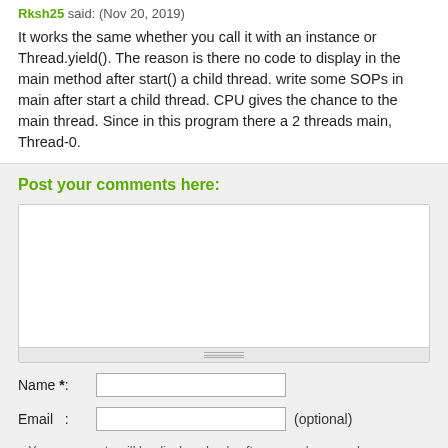Rksh25 said: (Nov 20, 2019)
It works the same whether you call it with an instance or Thread.yield(). The reason is there no code to display in the main method after start() a child thread. write some SOPs in main after start a child thread. CPU gives the chance to the main thread. Since in this program there a 2 threads main, Thread-0.
Post your comments here:
Name *:
Email  : (optional)
» Your comments will be displayed only after manual approval.